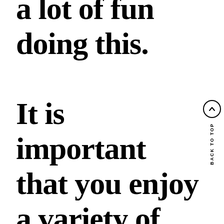a lot of fun doing this. It is important that you enjoy a variety of video online
BACK TO TOP